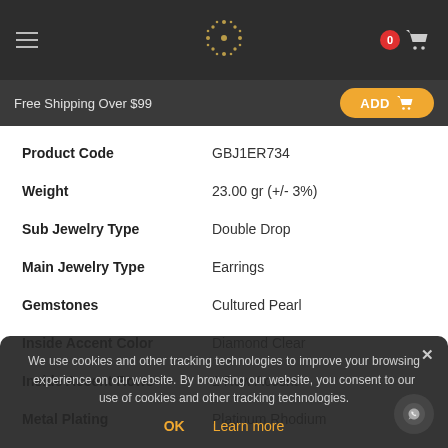Free Shipping Over $99 | ADD
| Attribute | Value |
| --- | --- |
| Product Code | GBJ1ER734 |
| Weight | 23.00 gr (+/- 3%) |
| Sub Jewelry Type | Double Drop |
| Main Jewelry Type | Earrings |
| Gemstones | Cultured Pearl |
| Inside Accent Color | Diamond Clear |
| Inside Accent Rows | 1 Row Accent |
| Metal Plating | Platinum Rhodium |
| Outside Accent Color | Rose Marcasite |
| Design |  |
| Collection | Precious Gems & |
We use cookies and other tracking technologies to improve your browsing experience on our website. By browsing our website, you consent to our use of cookies and other tracking technologies.